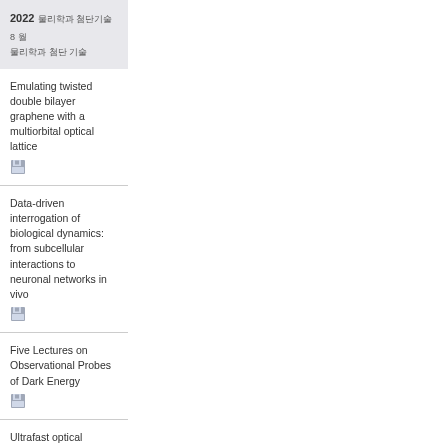2022 [Korean text] [Korean text]
Emulating twisted double bilayer graphene with a multiorbital optical lattice
Data-driven interrogation of biological dynamics: from subcellular interactions to neuronal networks in vivo
Five Lectures on Observational Probes of Dark Energy
Ultrafast optical studies on CDW collective modes...